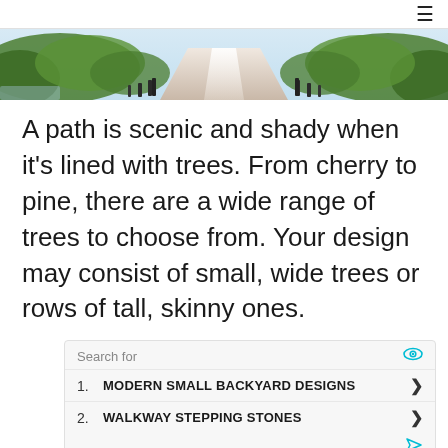≡
[Figure (photo): A scenic tree-lined path or walkway viewed from a low angle, with green trees on both sides and soft light at the end of the path. Black bollards line the path edges.]
A path is scenic and shady when it's lined with trees. From cherry to pine, there are a wide range of trees to choose from. Your design may consist of small, wide trees or rows of tall, skinny ones.
Search for
1. MODERN SMALL BACKYARD DESIGNS
2. WALKWAY STEPPING STONES